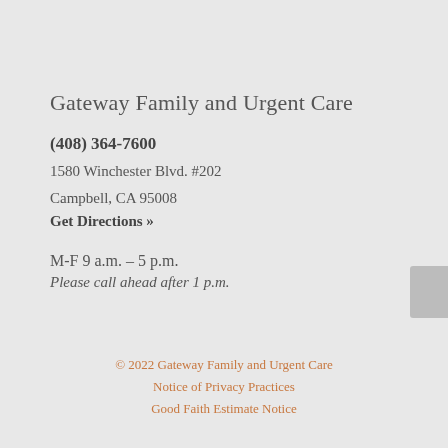Gateway Family and Urgent Care
(408) 364-7600
1580 Winchester Blvd. #202
Campbell, CA 95008
Get Directions »
M-F 9 a.m. – 5 p.m.
Please call ahead after 1 p.m.
© 2022 Gateway Family and Urgent Care
Notice of Privacy Practices
Good Faith Estimate Notice